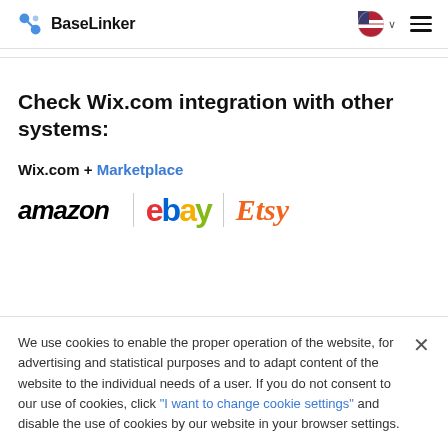BaseLinker
Check Wix.com integration with other systems:
Wix.com + Marketplace
[Figure (logo): Amazon, eBay, Etsy marketplace logos shown in a row]
We use cookies to enable the proper operation of the website, for advertising and statistical purposes and to adapt content of the website to the individual needs of a user. If you do not consent to our use of cookies, click "I want to change cookie settings" and disable the use of cookies by our website in your browser settings.